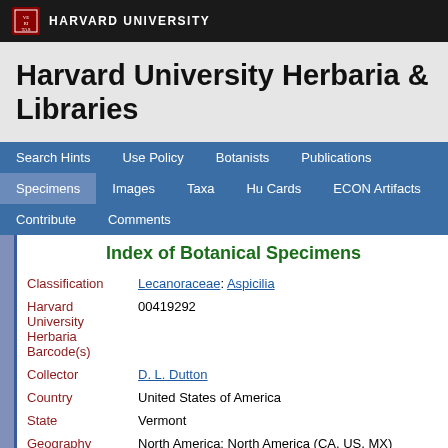HARVARD UNIVERSITY
Harvard University Herbaria & Libraries
Search Hints  Use Policy  Botanists  Publications  Specimens  Images  Taxa  Hu Cards  ECON Artifacts  Contribute  Comments
Index of Botanical Specimens
| Field | Value |
| --- | --- |
| Classification | Lecanoraceae: Aspicilia |
| Harvard University Herbaria Barcode(s) | 00419292 |
| Collector | D. L. Dutton |
| Country | United States of America |
| State | Vermont |
| Geography | North America: North America (CA, US, MX) (Region): United States of America: Vermont: Windsor County: Rochester |